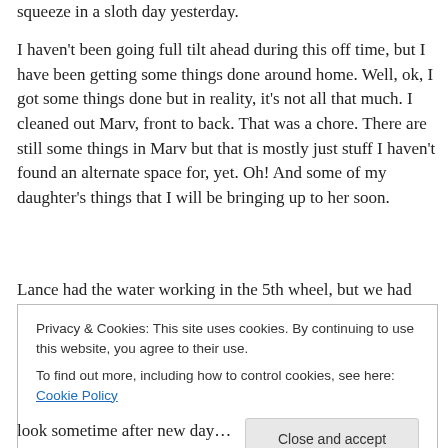squeeze in a sloth day yesterday.
I haven't been going full tilt ahead during this off time, but I have been getting some things done around home. Well, ok, I got some things done but in reality, it's not all that much. I cleaned out Marv, front to back. That was a chore. There are still some things in Marv but that is mostly just stuff I haven't found an alternate space for, yet. Oh! And some of my daughter's things that I will be bringing up to her soon.
Lance had the water working in the 5th wheel, but we had
Privacy & Cookies: This site uses cookies. By continuing to use this website, you agree to their use.
To find out more, including how to control cookies, see here: Cookie Policy
Close and accept
look sometime after new day…